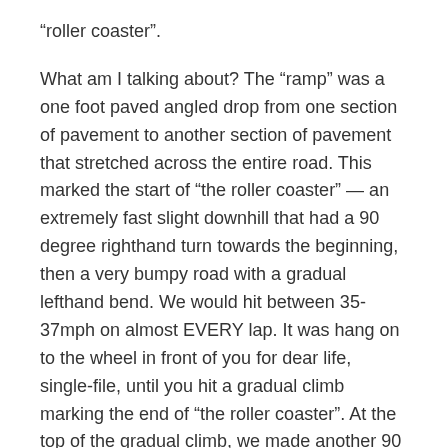“roller coaster”.
What am I talking about? The “ramp” was a one foot paved angled drop from one section of pavement to another section of pavement that stretched across the entire road. This marked the start of “the roller coaster” — an extremely fast slight downhill that had a 90 degree righthand turn towards the beginning, then a very bumpy road with a gradual lefthand bend. We would hit between 35-37mph on almost EVERY lap. It was hang on to the wheel in front of you for dear life, single-file, until you hit a gradual climb marking the end of “the roller coaster”. At the top of the gradual climb, we made another 90 degree turn and the start of the circuit’s primary downhill which today was into a slight headwind. At the bottom of this downhill, a 90 degree turn put you immediately onto the steep climb to the finish.
With two laps to go, I was caught in a group of about 25 gapped off the back. I helped a smaller group of about 10